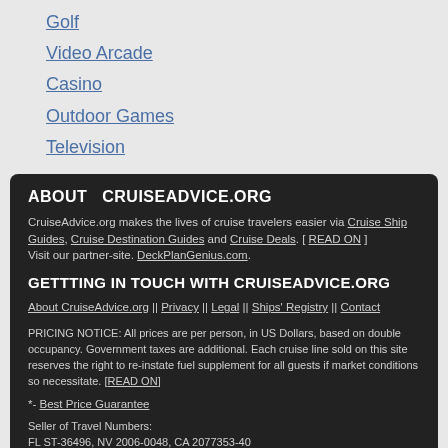Golf
Video Arcade
Casino
Outdoor Games
Television
ABOUT   CRUISEADVICE.ORG
CruiseAdvice.org makes the lives of cruise travelers easier via Cruise Ship Guides, Cruise Destination Guides and Cruise Deals. [ READ ON ] Visit our partner-site. DeckPlanGenius.com.
GETTTING IN TOUCH WITH CRUISEADVICE.ORG
About CruiseAdvice.org || Privacy || Legal || Ships' Registry || Contact
PRICING NOTICE: All prices are per person, in US Dollars, based on double occupancy. Government taxes are additional. Each cruise line sold on this site reserves the right to re-instate fuel supplement for all guests if market conditions so necessitate. [READ ON]
*- Best Price Guarantee
Seller of Travel Numbers:
FL ST-36496, NV 2006-0048, CA 2077353-40
Copyright 2010-14 by CruiseLabs Inc. ALL RIGHTS RESERVED